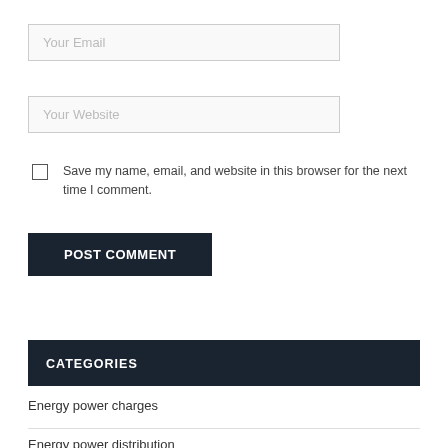Your Email
Your Website
Save my name, email, and website in this browser for the next time I comment.
POST COMMENT
CATEGORIES
Energy power charges
Energy power distribution